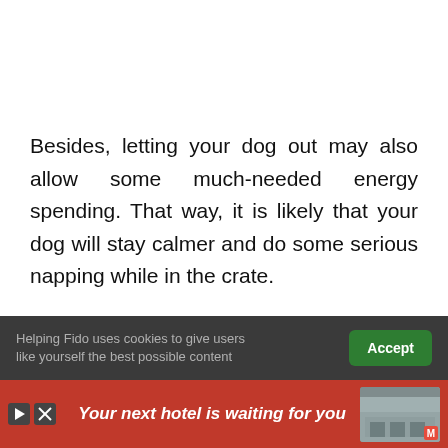Besides, letting your dog out may also allow some much-needed energy spending. That way, it is likely that your dog will stay calmer and do some serious napping while in the crate.
Here is the maximum amount of time you
Helping Fido uses cookies to give users like yourself the best possible content
[Figure (screenshot): Advertisement banner at the bottom of the page with red background showing 'Your next hotel is waiting for you' text with a hotel image on the right side]